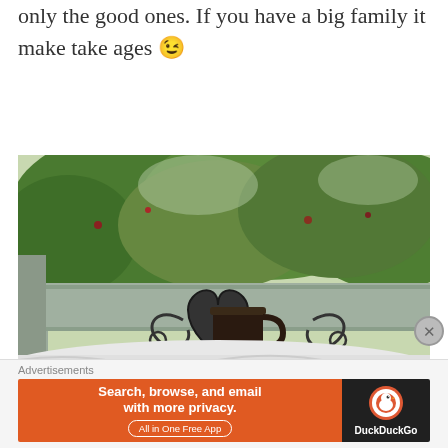only the good ones. If you have a big family it make take ages 😉
[Figure (photo): Outdoor photo showing green leafy plants/trees in the background, a wooden fence or railing, an ornate black wrought-iron chair back with heart/scroll designs, a dark mug or cup, and white fabric/cloth in the foreground. Some text visible at the bottom of the image.]
Advertisements
[Figure (screenshot): DuckDuckGo advertisement banner: orange background on left with text 'Search, browse, and email with more privacy. All in One Free App', and black background on right with DuckDuckGo logo and text 'DuckDuckGo'.]